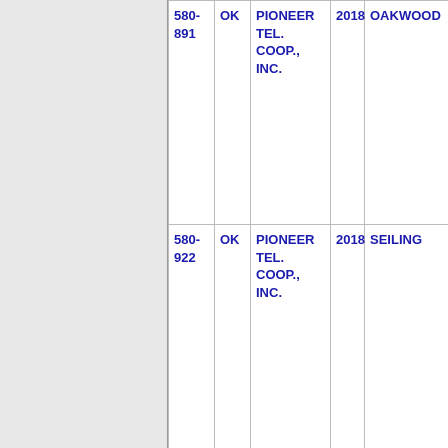| 580-891 | OK | PIONEER TEL. COOP., INC. | 2018 | OAKWOOD |
| 580-922 | OK | PIONEER TEL. COOP., INC. | 2018 | SEILING |